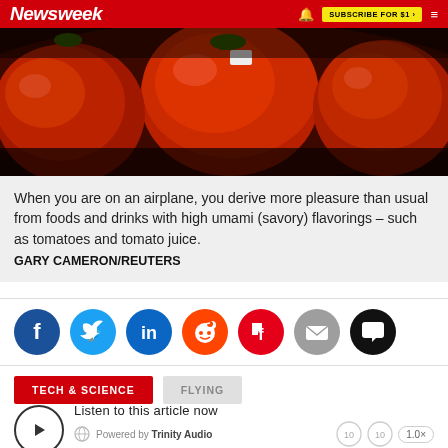Newsweek  SUBSCRIBE FOR $1  ☰
[Figure (photo): Close-up photo of red tomatoes on a dark background]
When you are on an airplane, you derive more pleasure than usual from foods and drinks with high umami (savory) flavorings – such as tomatoes and tomato juice.
GARY CAMERON/REUTERS
[Figure (infographic): Social sharing icons row: Facebook, Twitter, LinkedIn, Reddit, Flipboard, Email, Comments]
TECH & SCIENCE   FLYING
Listen to this article now  Powered by Trinity Audio  00:00  04:00